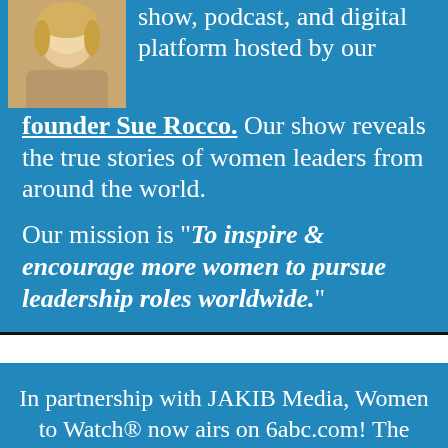[Figure (photo): Partial photo of a woman (founder Sue Rocco) in top-left corner of the blue section]
show, podcast, and digital platform hosted by our founder Sue Rocco. Our show reveals the true stories of women leaders from around the world.

Our mission is "To inspire & encourage more women to pursue leadership roles worldwide."
In partnership with JAKIB Media, Women to Watch® now airs on 6abc.com! The show will include a weekly stream on